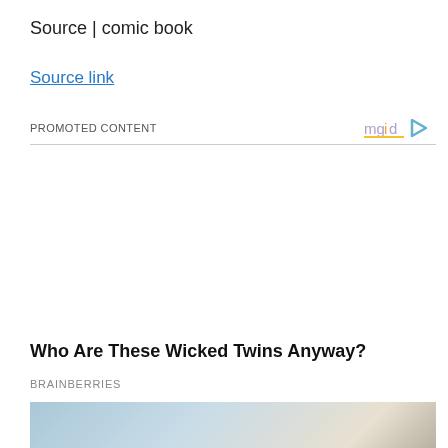Source | comic book
Source link
PROMOTED CONTENT
Who Are These Wicked Twins Anyway?
BRAINBERRIES
[Figure (photo): Blurred thumbnail image showing a person with gloved hand, partially visible]